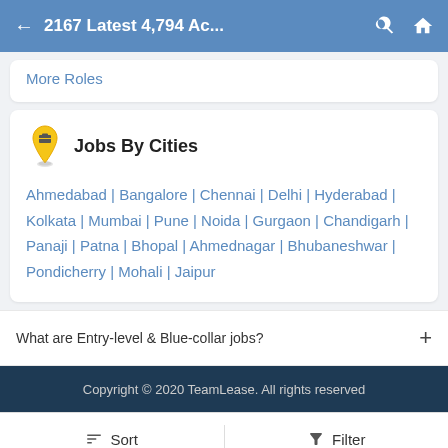2167 Latest 4,794 Ac...
More Roles
Jobs By Cities
Ahmedabad | Bangalore | Chennai | Delhi | Hyderabad | Kolkata | Mumbai | Pune | Noida | Gurgaon | Chandigarh | Panaji | Patna | Bhopal | Ahmednagar | Bhubaneshwar | Pondicherry | Mohali | Jaipur
What are Entry-level & Blue-collar jobs?
Copyright © 2020 TeamLease. All rights reserved